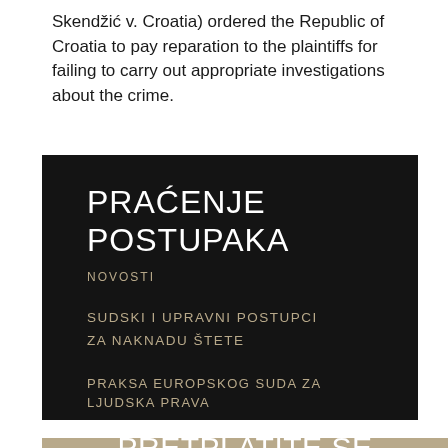Skendžić v. Croatia) ordered the Republic of Croatia to pay reparation to the plaintiffs for failing to carry out appropriate investigations about the crime.
[Figure (other): Black banner with Croatian text: PRAĆENJE POSTUPAKA (large title), NOVOSTI, SUDSKI I UPRAVNI POSTUPCI ZA NAKNADU ŠTETE, PRAKSA EUROPSKOG SUDA ZA LJUDSKA PRAVA]
[Figure (other): Tan/beige banner with text PRETPLATITE SE NA BILTEN (subscribe to newsletter), with BILTEN in bold]